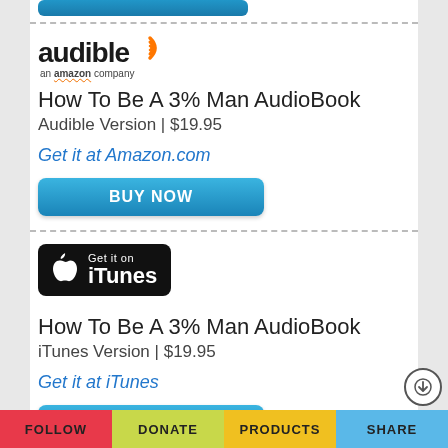[Figure (logo): Audible logo - 'audible' text with orange wifi/wave icon, 'an amazon company' subtitle]
How To Be A 3% Man AudioBook
Audible Version | $19.95
Get it at Amazon.com
[Figure (other): BUY NOW blue button]
[Figure (logo): Get it on iTunes badge - black rounded rectangle with Apple logo and iTunes text]
How To Be A 3% Man AudioBook
iTunes Version | $19.95
Get it at iTunes
[Figure (other): BUY NOW blue button]
*Amazon and the Amazon logo are trademarks of Amazon.com, Inc. or its affiliates. As an Amazon
FOLLOW | DONATE | PRODUCTS | SHARE